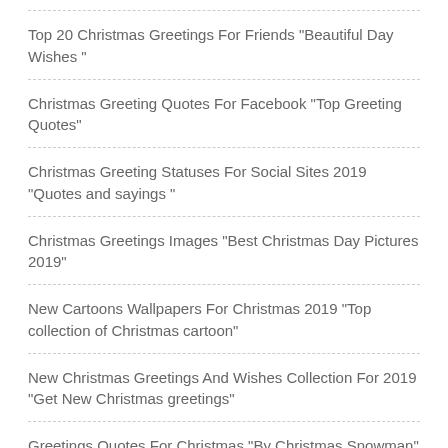Top 20 Christmas Greetings For Friends "Beautiful Day Wishes "
Christmas Greeting Quotes For Facebook "Top Greeting Quotes"
Christmas Greeting Statuses For Social Sites 2019 "Quotes and sayings "
Christmas Greetings Images "Best Christmas Day Pictures 2019"
New Cartoons Wallpapers For Christmas 2019 "Top collection of Christmas cartoon"
New Christmas Greetings And Wishes Collection For 2019 "Get New Christmas greetings"
Greetings Quotes For Christmas "By Christmas Snowman"